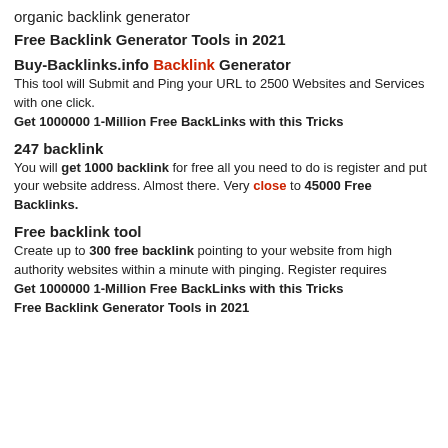organic backlink generator
Free Backlink Generator Tools in 2021
Buy-Backlinks.info Backlink Generator
This tool will Submit and Ping your URL to 2500 Websites and Services with one click.
Get 1000000 1-Million Free BackLinks with this Tricks
247 backlink
You will get 1000 backlink for free all you need to do is register and put your website address. Almost there. Very close to 45000 Free Backlinks.
Free backlink tool
Create up to 300 free backlink pointing to your website from high authority websites within a minute with pinging. Register requires
Get 1000000 1-Million Free BackLinks with this Tricks
Free Backlink Generator Tools in 2021